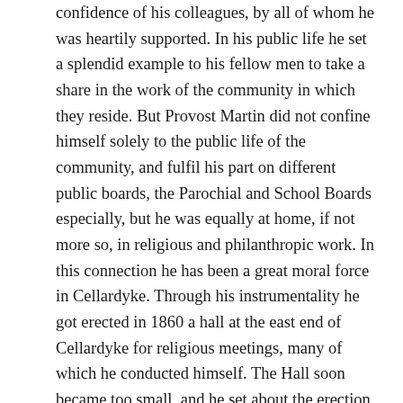confidence of his colleagues, by all of whom he was heartily supported. In his public life he set a splendid example to his fellow men to take a share in the work of the community in which they reside. But Provost Martin did not confine himself solely to the public life of the community, and fulfil his part on different public boards, the Parochial and School Boards especially, but he was equally at home, if not more so, in religious and philanthropic work. In this connection he has been a great moral force in Cellardyke. Through his instrumentality he got erected in 1860 a hall at the east end of Cellardyke for religious meetings, many of which he conducted himself. The Hall soon became too small, and he set about the erection of a larger place and one which would be more central. In this he succeeded, and early in the seventies, the present Forth Street Hall was put up. Here he superintended a large Sunday School and Bible-class every Sunday for many years and the great good he